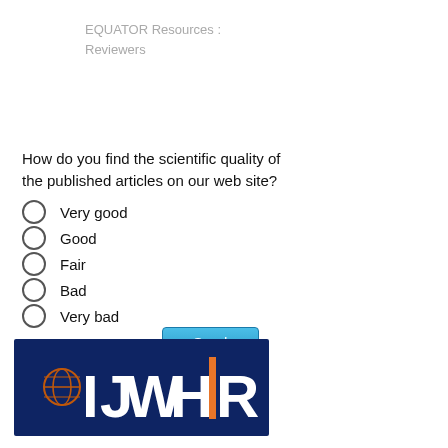EQUATOR Resources : Reviewers
How do you find the scientific quality of the published articles on our web site?
Very good
Good
Fair
Bad
Very bad
[Figure (logo): IJWHR journal logo on dark navy blue background with orange globe icon and orange vertical bar between H and R]
Send